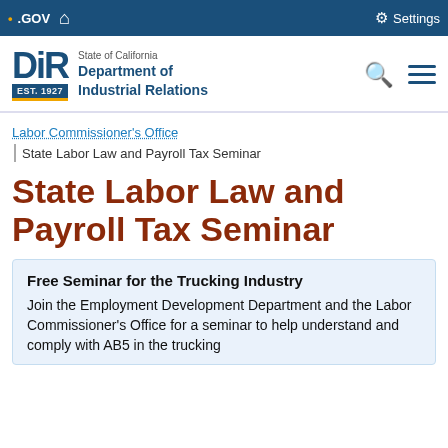CA.GOV | Settings
[Figure (logo): DIR - State of California Department of Industrial Relations logo, EST. 1927]
Labor Commissioner's Office
State Labor Law and Payroll Tax Seminar
State Labor Law and Payroll Tax Seminar
Free Seminar for the Trucking Industry
Join the Employment Development Department and the Labor Commissioner’s Office for a seminar to help understand and comply with AB5 in the trucking